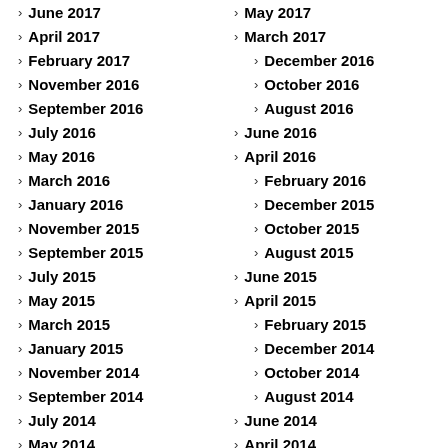June 2017
May 2017
April 2017
March 2017
February 2017
December 2016
November 2016
October 2016
September 2016
August 2016
July 2016
June 2016
May 2016
April 2016
March 2016
February 2016
January 2016
December 2015
November 2015
October 2015
September 2015
August 2015
July 2015
June 2015
May 2015
April 2015
March 2015
February 2015
January 2015
December 2014
November 2014
October 2014
September 2014
August 2014
July 2014
June 2014
May 2014
April 2014